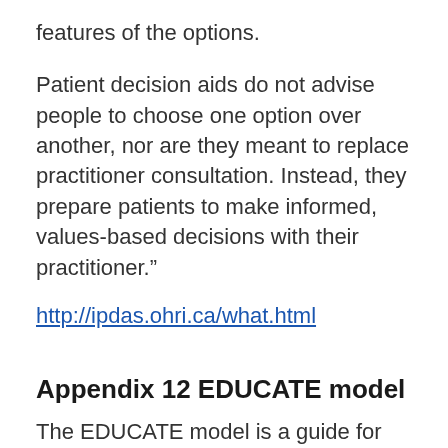features of the options.
Patient decision aids do not advise people to choose one option over another, nor are they meant to replace practitioner consultation. Instead, they prepare patients to make informed, values-based decisions with their practitioner.”
http://ipdas.ohri.ca/what.html
Appendix 12 EDUCATE model
The EDUCATE model is a guide for verbal patient education which leads the educator through five stages to reach teaching objectives. In addition to stages described in the EDUCATE acronym, the model focuses on adequate preparation for teaching